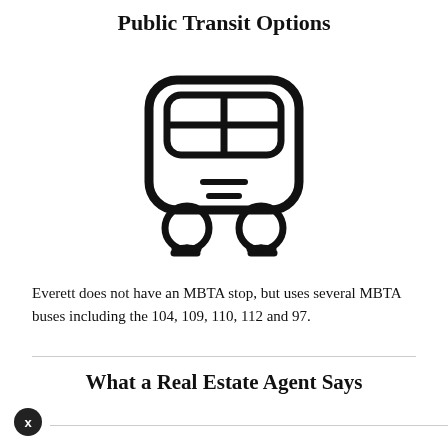Public Transit Options
[Figure (illustration): Icon of a train/subway car with rounded rectangular body, two windows at top, two circular wheels at bottom, and two rail feet at the base. Drawn in black outline style.]
Everett does not have an MBTA stop, but uses several MBTA buses including the 104, 109, 110, 112 and 97.
What a Real Estate Agent Says